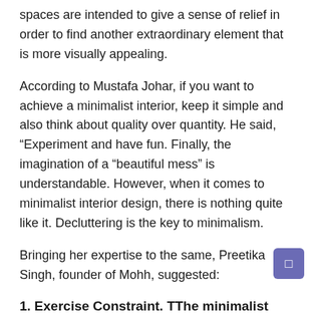spaces are intended to give a sense of relief in order to find another extraordinary element that is more visually appealing.
According to Mustafa Johar, if you want to achieve a minimalist interior, keep it simple and also think about quality over quantity. He said, “Experiment and have fun. Finally, the imagination of a “beautiful mess” is understandable. However, when it comes to minimalist interior design, there is nothing quite like it. Decluttering is the key to minimalism.
Bringing her expertise to the same, Preetika Singh, founder of Mohh, suggested:
1. Exercise Constraint. TThe minimalist